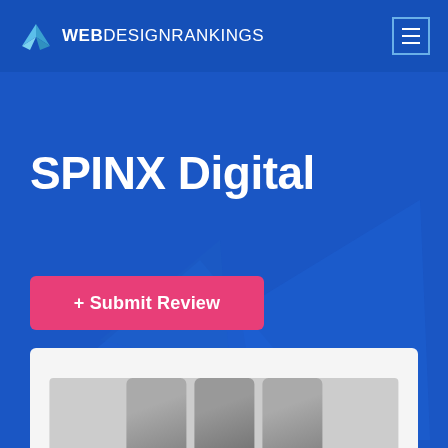WEBDESIGNRANKINGS
SPINX Digital
+ Submit Review
[Figure (photo): Partial view of a photo strip showing people, at the bottom of the page inside a white card area]